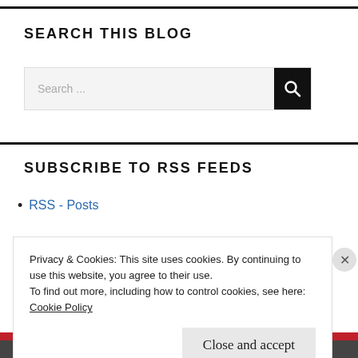SEARCH THIS BLOG
[Figure (screenshot): Search input box with placeholder text 'Search ...' and a black search button with magnifying glass icon]
SUBSCRIBE TO RSS FEEDS
RSS - Posts
Privacy & Cookies: This site uses cookies. By continuing to use this website, you agree to their use.
To find out more, including how to control cookies, see here:
Cookie Policy
Close and accept